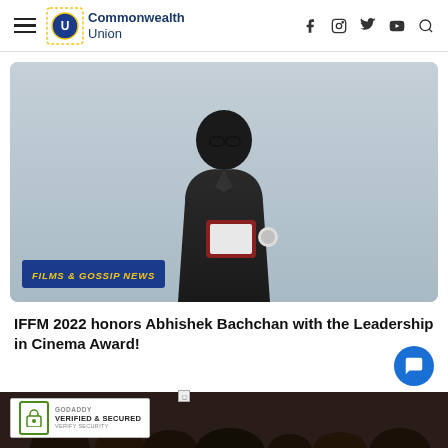Commonwealth Union
[Figure (photo): Man in dark blazer holding a certificate/award plaque, standing in front of an Indian Film Festival of Melbourne (IFFM) sponsor backdrop with logos including VIOSCREEN, SAT, LA TROBE UNIVERSITY, HOYTS, Singapore Airlines. Overlay text reads FILMS & GOSSIP NEWS in gold italic on dark blue background.]
IFFM 2022 honors Abhishek Bachchan with the Leadership in Cinema Award!
[Figure (logo): GoDaddy Verified & Secured badge with padlock icon and text VERIFY SECURITY]
[Figure (photo): Partial bottom strip showing dark silhouettes of audience/people]